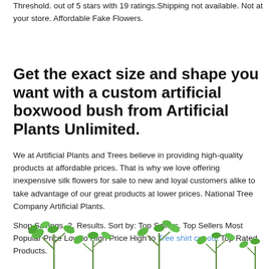Threshold. out of 5 stars with 19 ratings.Shipping not available. Not at your store. Affordable Fake Flowers.
Get the exact size and shape you want with a custom artificial boxwood bush from Artificial Plants Unlimited.
We at Artificial Plants and Trees believe in providing high-quality products at affordable prices. That is why we love offering inexpensive silk flowers for sale to new and loyal customers alike to take advantage of our great products at lower prices. National Tree Company Artificial Plants.
Shop Savings. 2, Results. Sort by: Top Sellers. Top Sellers Most Popular Price Low to High Price High to Tree shirt cut out Top Rated Products.
[Figure (illustration): Decorative artificial green plant stems/bushes shown at the bottom of the page]